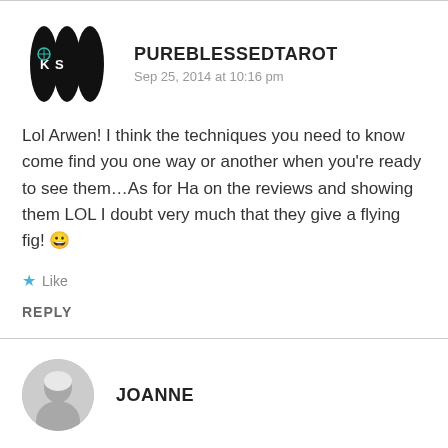[Figure (logo): PureBlessedTarot avatar: three black oval/surfboard shapes with 'KS' text and a star/compass symbol]
PUREBLESSEDTAROT
Sep 25, 2014 at 10:16 pm
Lol Arwen! I think the techniques you need to know come find you one way or another when you're ready to see them…As for Ha on the reviews and showing them LOL I doubt very much that they give a flying fig! 😀
★ Like
REPLY
[Figure (photo): Joanne avatar: circular photo of a person with grey/white hair]
JOANNE